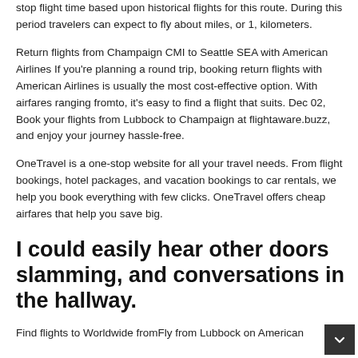stop flight time based upon historical flights for this route. During this period travelers can expect to fly about miles, or 1, kilometers.
Return flights from Champaign CMI to Seattle SEA with American Airlines If you're planning a round trip, booking return flights with American Airlines is usually the most cost-effective option. With airfares ranging fromto, it's easy to find a flight that suits. Dec 02, Book your flights from Lubbock to Champaign at flightaware.buzz, and enjoy your journey hassle-free.
OneTravel is a one-stop website for all your travel needs. From flight bookings, hotel packages, and vacation bookings to car rentals, we help you book everything with few clicks. OneTravel offers cheap airfares that help you save big.
I could easily hear other doors slamming, and conversations in the hallway.
Find flights to Worldwide fromFly from Lubbock on American